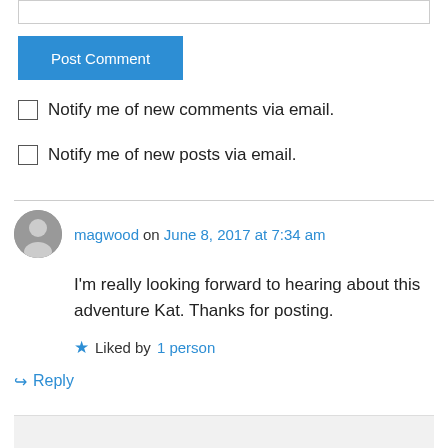[Figure (other): Text input field (top border visible)]
Post Comment
Notify me of new comments via email.
Notify me of new posts via email.
magwood on June 8, 2017 at 7:34 am
I'm really looking forward to hearing about this adventure Kat. Thanks for posting.
Liked by 1 person
Reply